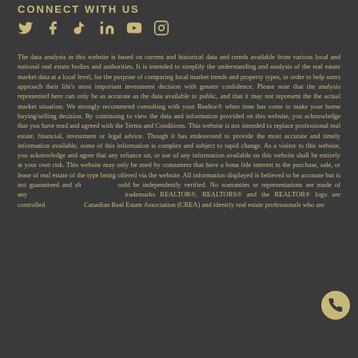CONNECT WITH US
[Figure (other): Social media icons: Twitter/X, Facebook, TikTok, LinkedIn, YouTube, Instagram]
The data analysis in this website is based on current and historical data and trends available from various local and national real estate bodies and authorities. It is intended to simplify the understanding and analysis of the real estate market data at a local level, for the purpose of comparing local market trends and property types, in order to help users approach their life's most important investment decision with greater confidence. Please note that the analysis represented here can only be as accurate as the data available to public, and that it may not represent the the actual market situation. We strongly recommend consulting with your Realtor® when time has come to make your home buying/selling decision. By continuing to view the data and information provided on this website, you acknowledge that you have read and agreed with the Terms and Conditions. This website is not intended to replace professional real estate, financial, investment or legal advice. Though it has endeavored to provide the most accurate and timely information available, some of this information is complex and subject to rapid change. As a visitor to this website, you acknowledge and agree that any reliance on, or use of any information available on this website shall be entirely at your own risk. This website may only be used by consumers that have a bona fide interest in the purchase, sale, or lease of real estate of the type being offered via the website. All information displayed is believed to be accurate but is not guaranteed and should be independently verified. No warranties or representations are made of any kind. The trademarks REALTOR®, REALTORS® and the REALTOR® logo are controlled by the Canadian Real Estate Association (CREA) and identify real estate professionals who are